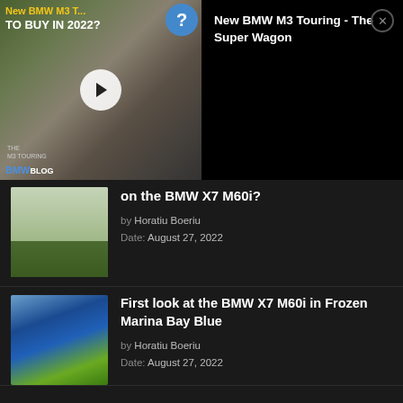[Figure (screenshot): Video thumbnail showing BMW M3 Touring promotional video with play button, BMWBLOG branding, and text 'New BMW M3 T... TO BUY IN 2022? THE M3 TOURING'. Adjacent black panel shows title 'New BMW M3 Touring - The Super Wagon' with close button.]
[Figure (photo): Thumbnail photo of BMW X7 M60i with camouflage wrap, parked outside a building with net/fence in background.]
on the BMW X7 M60i?
by Horatiu Boeriu
Date: August 27, 2022
[Figure (photo): Thumbnail photo of BMW X7 M60i in Frozen Marina Bay Blue color, front view, parked on grass.]
First look at the BMW X7 M60i in Frozen Marina Bay Blue
by Horatiu Boeriu
Date: August 27, 2022
[Figure (photo): Thumbnail photo of BMW M8 Gran Coupe in green color parked near stone wall.]
Milltek Sports Exhaust Makes a World of a Difference For the BMW M8 Gran Coupe